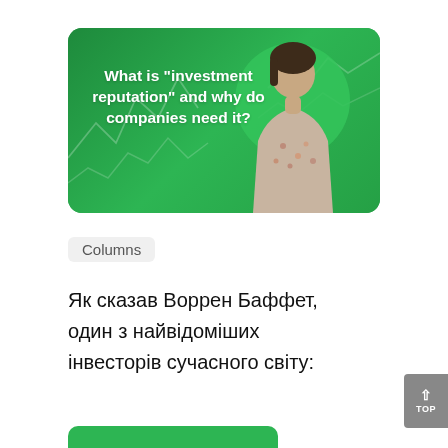[Figure (illustration): Green rounded-corner card thumbnail with white bold text 'What is "investment reputation" and why do companies need it?' overlaid on a green background with stock chart line art and a woman in a floral blouse standing to the right against a circular green highlight.]
Columns
Як сказав Воррен Баффет, один з найвідоміших інвесторів сучасного світу: